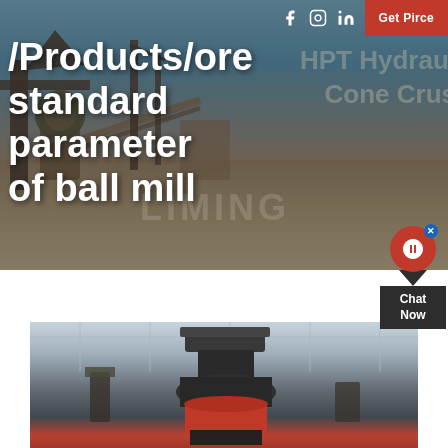[Figure (photo): Industrial mining/crushing facility hero banner with heavy machinery and equipment in an open yard, sky in background]
/Products/ore standard parameter of ball mill
[Figure (photo): Close-up photo of a vertical shaft impact crusher or cone crusher machine inside an industrial workshop with steel structure roof]